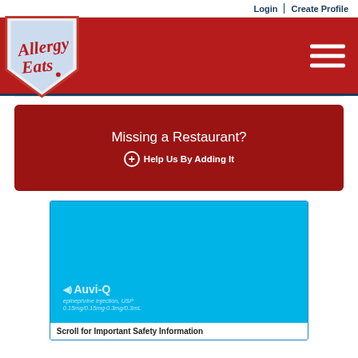Login | Create Profile
[Figure (logo): AllergyEats logo — cursive red text on blue/white shield shape with red border]
[Figure (infographic): Hamburger menu icon (three white horizontal lines) on red background header]
[Figure (infographic): Missing a Restaurant? red banner with text and Help Us By Adding It link]
[Figure (photo): Auvi-Q advertisement — cyan/light blue background with Auvi-Q epinephrine injection brand logo in white text]
Scroll for Important Safety Information